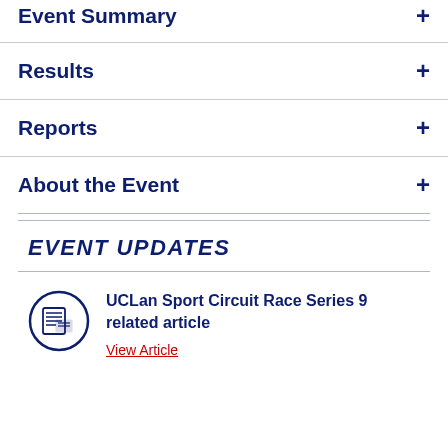Event Summary
Results
Reports
About the Event
EVENT UPDATES
UCLan Sport Circuit Race Series 9 related article
View Article